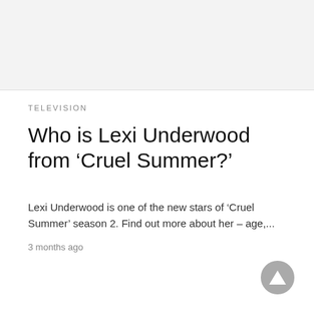[Figure (photo): Light gray placeholder image area at the top of the page]
TELEVISION
Who is Lexi Underwood from ‘Cruel Summer?’
Lexi Underwood is one of the new stars of ‘Cruel Summer’ season 2. Find out more about her – age,...
3 months ago